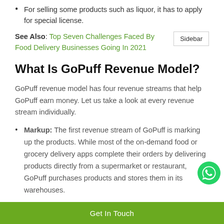For selling some products such as liquor, it has to apply for special license.
See Also: Top Seven Challenges Faced By Food Delivery Businesses Going In 2021
What Is GoPuff Revenue Model?
GoPuff revenue model has four revenue streams that help GoPuff earn money. Let us take a look at every revenue stream individually.
Markup: The first revenue stream of GoPuff is marking up the products. While most of the on-demand food or grocery delivery apps complete their orders by delivering products directly from a supermarket or restaurant, GoPuff purchases products and stores them in its warehouses.
Get In Touch